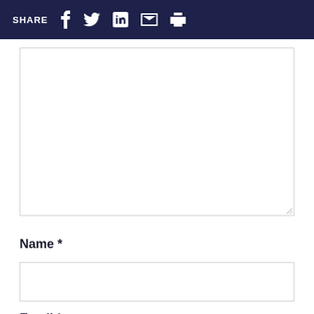SHARE
[Figure (screenshot): Large textarea input box with resize handle at bottom right]
Name *
[Figure (screenshot): Text input field for Name]
Email *